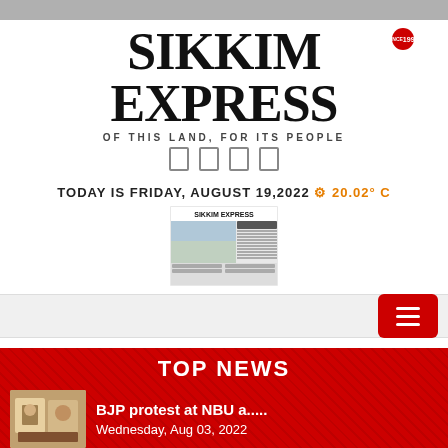SIKKIM EXPRESS
OF THIS LAND, FOR ITS PEOPLE
TODAY IS FRIDAY, AUGUST 19,2022 20.02° C
[Figure (photo): Thumbnail of the Sikkim Express newspaper front page]
TOP NEWS
BJP protest at NBU a.....
Wednesday, Aug 03, 2022